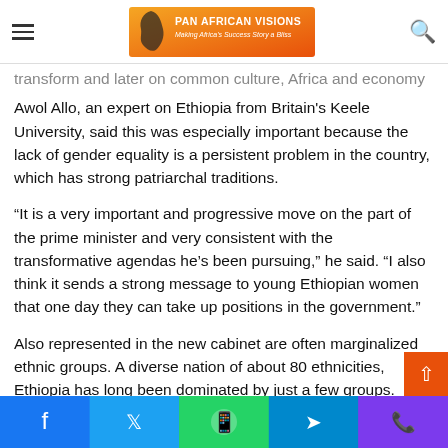Pan African Visions — navigation bar with hamburger menu, logo, and search icon
Awol Allo, an expert on Ethiopia from Britain's Keele University, said this was especially important because the lack of gender equality is a persistent problem in the country, which has strong patriarchal traditions.
“It is a very important and progressive move on the part of the prime minister and very consistent with the transformative agendas he’s been pursuing,” he said. “I also think it sends a strong message to young Ethiopian women that one day they can take up positions in the government.”
Also represented in the new cabinet are often marginalized ethnic groups. A diverse nation of about 80 ethnicities, Ethiopia has long been dominated by just a few groups.
Social share bar: Facebook, Twitter, WhatsApp, Telegram, Phone